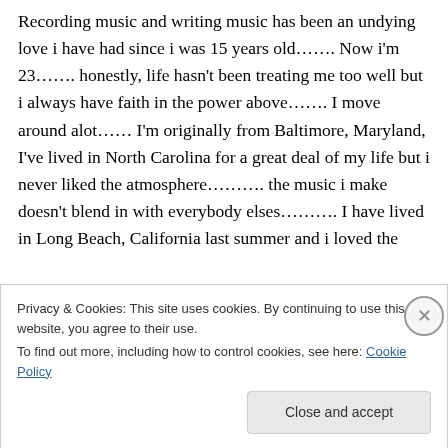Recording music and writing music has been an undying love i have had since i was 15 years old……. Now i'm 23……. honestly, life hasn't been treating me too well but i always have faith in the power above……. I move around alot…… I'm originally from Baltimore, Maryland, I've lived in North Carolina for a great deal of my life but i never liked the atmosphere………. the music i make doesn't blend in with everybody elses………. I have lived in Long Beach, California last summer and i loved the
Privacy & Cookies: This site uses cookies. By continuing to use this website, you agree to their use.
To find out more, including how to control cookies, see here: Cookie Policy